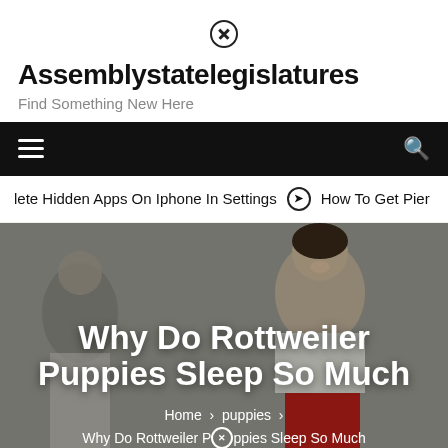Assemblystatelegislatures — Find Something New Here
lete Hidden Apps On Iphone In Settings   How To Get Pier
[Figure (photo): Hero banner image showing a smiling woman in a red apron with a man in the background, overlaid with article title text]
Why Do Rottweiler Puppies Sleep So Much
Home > puppies > Why Do Rottweiler Puppies Sleep So Much